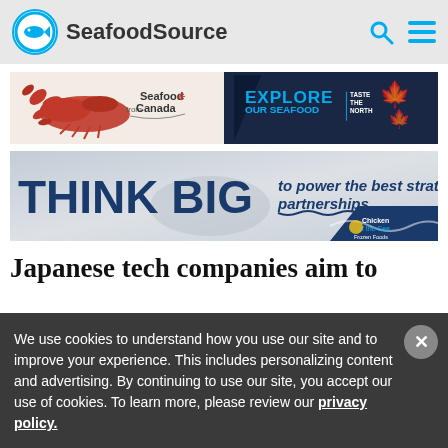SeafoodSource
[Figure (illustration): Seafood from Canada banner ad with lobster image on left and dark navy right side with text EXPLORE OUR SEAFOOD TASTE THE NORTH and red maple leaf]
[Figure (illustration): Think BIG to power the best strategic partnerships - Chicken of the Sea Frozen Foods advertisement with blue and grey background]
Japanese tech companies aim to
We use cookies to understand how you use our site and to improve your experience. This includes personalizing content and advertising. By continuing to use our site, you accept our use of cookies. To learn more, please review our privacy policy.